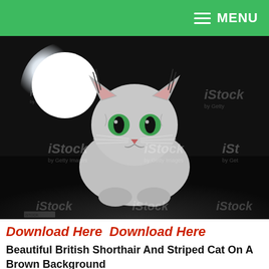MENU
[Figure (photo): A silver/grey British Shorthair cat with green eyes lying on a dark floor in front of a bright white circular light, with iStock by Getty Images watermarks across the image.]
Download Here  Download Here
Beautiful British Shorthair And Striped Cat On A Brown Background
[Figure (photo): Bottom portion of an image showing a brown/orange furry cat or similar texture, partially visible with 123RF watermark.]